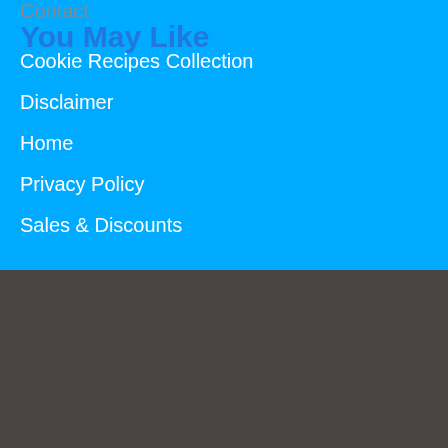Contact
You May Like
Cookie Recipes Collection
Disclaimer
Home
Privacy Policy
Sales & Discounts
Copyright © 2022 Kitchenfeeds
Home    About Us    Contact    Disclaimer    Privacy Policy